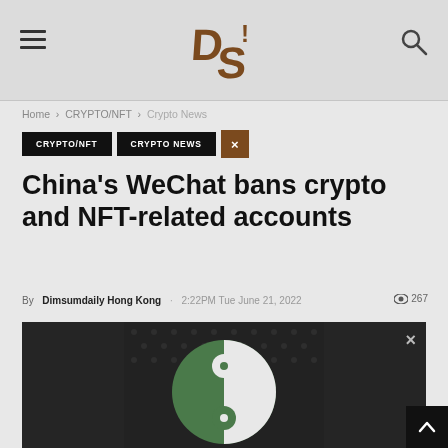DS logo navigation header with hamburger menu and search icon
Home › CRYPTO/NFT › Crypto News
CRYPTO/NFT   CRYPTO NEWS   ×
China's WeChat bans crypto and NFT-related accounts
By Dimsumdaily Hong Kong · 2:22PM Tue June 21, 2022  👁 267
[Figure (photo): WeChat yin-yang logo icon in green and white on dark background]